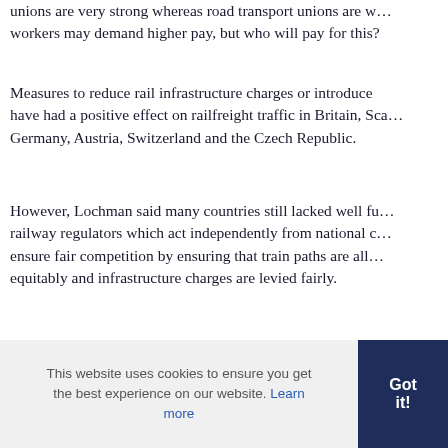unions are very strong whereas road transport unions are w… workers may demand higher pay, but who will pay for this?
Measures to reduce rail infrastructure charges or introduce … have had a positive effect on railfreight traffic in Britain, Sca… Germany, Austria, Switzerland and the Czech Republic.
However, Lochman said many countries still lacked well fu… railway regulators which act independently from national c… ensure fair competition by ensuring that train paths are all… equitably and infrastructure charges are levied fairly.
He listed eight policy recommendations which he would lik… enacted. These are:
• ensure adequate and reliable public funding of rail infras…
This website uses cookies to ensure you get the best experience on our website. Learn more
Got it!